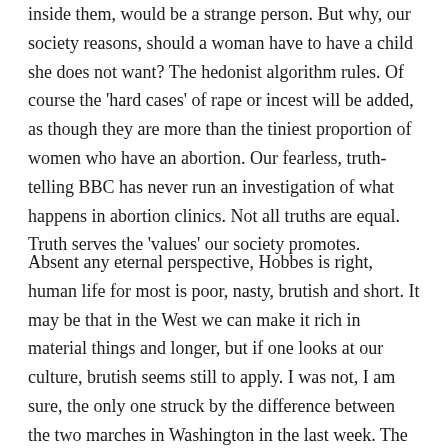inside them, would be a strange person. But why, our society reasons, should a woman have to have a child she does not want? The hedonist algorithm rules. Of course the 'hard cases' of rape or incest will be added, as though they are more than the tiniest proportion of women who have an abortion. Our fearless, truth-telling BBC has never run an investigation of what happens in abortion clinics. Not all truths are equal. Truth serves the 'values' our society promotes.
Absent any eternal perspective, Hobbes is right, human life for most is poor, nasty, brutish and short. It may be that in the West we can make it rich in material things and longer, but if one looks at our culture, brutish seems still to apply. I was not, I am sure, the only one struck by the difference between the two marches in Washington in the last week. The first full of vulgarity, profanity and excess – license masquerading as liberty, the the second, the 'March